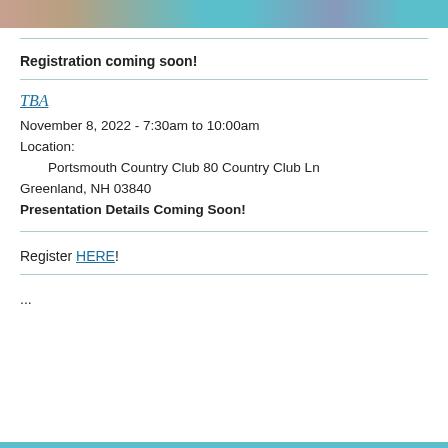[Figure (photo): Partial image strip at top showing people, cropped, with teal/cyan background]
Registration coming soon!
TBA
November 8, 2022 - 7:30am to 10:00am
Location:
    Portsmouth Country Club 80 Country Club Ln
    Greenland, NH 03840
Presentation Details Coming Soon!
Register HERE!
...